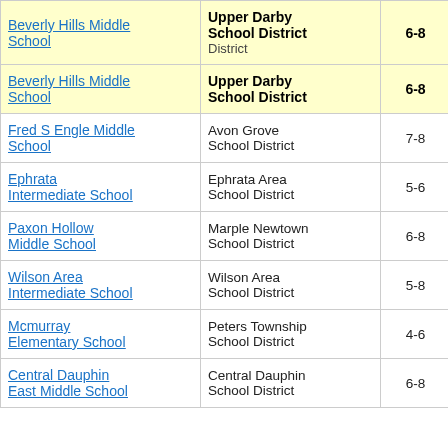| School | District | Grades | Value |
| --- | --- | --- | --- |
| Beverly Hills Middle School | Upper Darby School District / District | 6-8 | -0. |
| Beverly Hills Middle School | Upper Darby School District | 6-8 | -0. |
| Fred S Engle Middle School | Avon Grove School District | 7-8 | -1. |
| Ephrata Intermediate School | Ephrata Area School District | 5-6 | 2. |
| Paxon Hollow Middle School | Marple Newtown School District | 6-8 | -3. |
| Wilson Area Intermediate School | Wilson Area School District | 5-8 | -11. |
| Mcmurray Elementary School | Peters Township School District | 4-6 | -0. |
| Central Dauphin East Middle School | Central Dauphin School District | 6-8 | -0. |